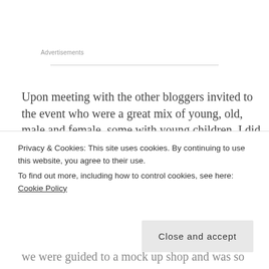Advertisements
Upon meeting with the other bloggers invited to the event who were a great mix of young, old, male and female, some with young children, I did wonder what kind of afternoon it would be. However, I need not have worried as we were in the
Privacy & Cookies: This site uses cookies. By continuing to use this website, you agree to their use.
To find out more, including how to control cookies, see here: Cookie Policy
Close and accept
we were guided to a mock up shop and was so